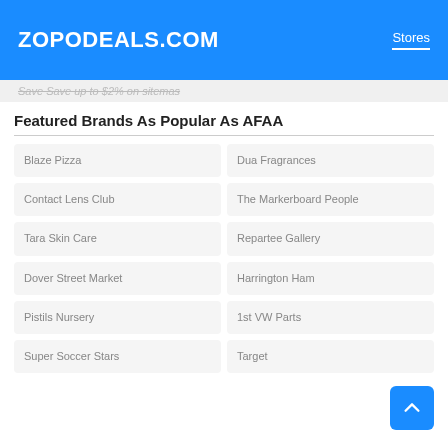ZOPODEALS.COM  Stores
Save Save up to $2% on sitemas
Featured Brands As Popular As AFAA
Blaze Pizza
Dua Fragrances
Contact Lens Club
The Markerboard People
Tara Skin Care
Repartee Gallery
Dover Street Market
Harrington Ham
Pistils Nursery
1st VW Parts
Super Soccer Stars
Target